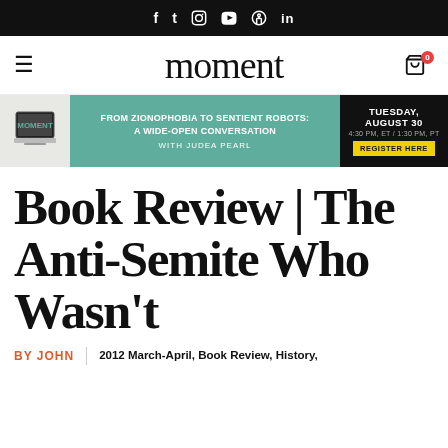f  t  Instagram  YouTube  Pinterest  in
moment
[Figure (infographic): Banner ad for Moment event: FROM ZIONOPHOBIA TO SENTIENT ROBOTS: A WIDE-OPEN CONVERSATION WITH JUDEA PEARL, TUESDAY, AUGUST 30, 4:30 PM ET / 1:30 PM PT, REGISTER HERE]
Book Review | The Anti-Semite Who Wasn't
BY JOHN
2012 March-April, Book Review, History,